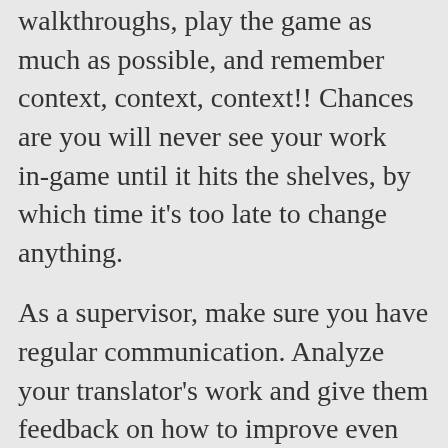walkthroughs, play the game as much as possible, and remember context, context, context!! Chances are you will never see your work in-game until it hits the shelves, by which time it's too late to change anything.
As a supervisor, make sure you have regular communication. Analyze your translator's work and give them feedback on how to improve even further. Five minutes of training can work wonders.
Unfortunately, although I can put this game on my resume, I do not feel I can morally request letters of recommendation from anyone involved. I still maintain occasional contact with my first supervisor and my collaborator, but I have not worked on any